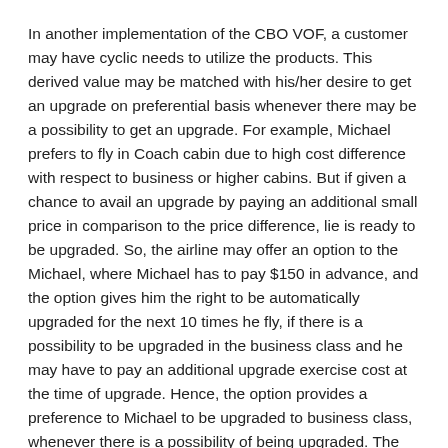In another implementation of the CBO VOF, a customer may have cyclic needs to utilize the products. This derived value may be matched with his/her desire to get an upgrade on preferential basis whenever there may be a possibility to get an upgrade. For example, Michael prefers to fly in Coach cabin due to high cost difference with respect to business or higher cabins. But if given a chance to avail an upgrade by paying an additional small price in comparison to the price difference, lie is ready to be upgraded. So, the airline may offer an option to the Michael, where Michael has to pay $150 in advance, and the option gives him the right to be automatically upgraded for the next 10 times he fly, if there is a possibility to be upgraded in the business class and he may have to pay an additional upgrade exercise cost at the time of upgrade. Hence, the option provides a preference to Michael to be upgraded to business class, whenever there is a possibility of being upgraded. The airline may or may not charge any exercise price for giving upgrades to the customers.
In yet another implementation of the CBO VOF, the company may provide an option to the customer, which